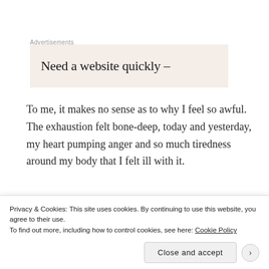Advertisements
[Figure (other): Advertisement banner with beige/rose background showing text: Need a website quickly –]
To me, it makes no sense as to why I feel so awful. The exhaustion felt bone-deep, today and yesterday, my heart pumping anger and so much tiredness around my body that I felt ill with it.
I despise the way my family acts, sometimes. The
Privacy & Cookies: This site uses cookies. By continuing to use this website, you agree to their use.
To find out more, including how to control cookies, see here: Cookie Policy
Close and accept